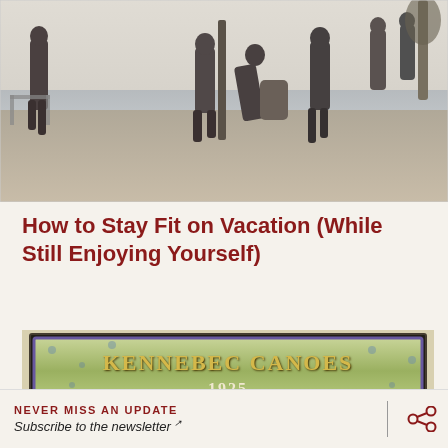[Figure (photo): Black and white photograph of several people standing on a beach, wearing swimwear from an early era. A vertical pole is visible in the center.]
How to Stay Fit on Vacation (While Still Enjoying Yourself)
[Figure (photo): Vintage advertisement or catalog cover for Kennebec Canoes 1925, with decorative floral green-blue background and gold lettering on a dark bordered frame.]
NEVER MISS AN UPDATE Subscribe to the newsletter